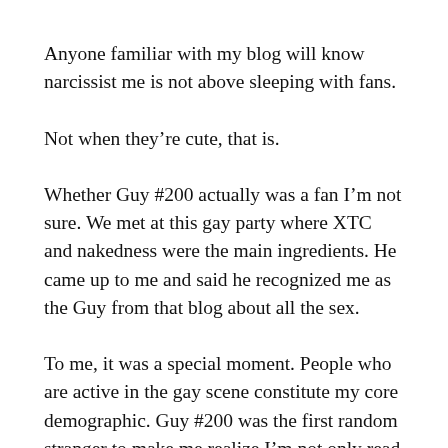Anyone familiar with my blog will know narcissist me is not above sleeping with fans.
Not when they’re cute, that is.
Whether Guy #200 actually was a fan I’m not sure. We met at this gay party where XTC and nakedness were the main ingredients. He came up to me and said he recognized me as the Guy from that blog about all the sex.
To me, it was a special moment. People who are active in the gay scene constitute my core demographic. Guy #200 was the first random stranger to make me realize I’m not only read